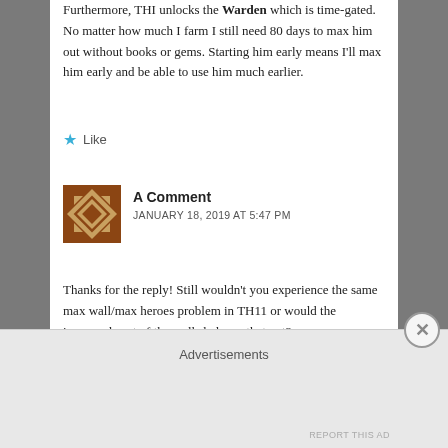Furthermore, THI unlocks the Warden which is time-gated. No matter how much I farm I still need 80 days to max him out without books or gems. Starting him early means I'll max him early and be able to use him much earlier.
★ Like
A Comment
JANUARY 18, 2019 AT 5:47 PM
Thanks for the reply! Still wouldn't you experience the same max wall/max heroes problem in TH11 or would the increased cost of the walls balance that out?
★ Like
SinOfDusk
Advertisements
REPORT THIS AD